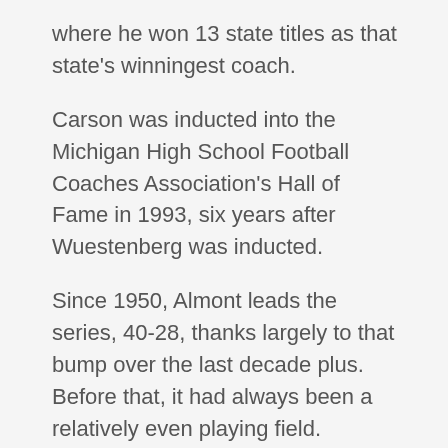where he won 13 state titles as that state's winningest coach.
Carson was inducted into the Michigan High School Football Coaches Association's Hall of Fame in 1993, six years after Wuestenberg was inducted.
Since 1950, Almont leads the series, 40-28, thanks largely to that bump over the last decade plus. Before that, it had always been a relatively even playing field.
“Even years where one team was down, you could look at the scores, and it was still a close game. I think I counted 38 of the 68 years that are available online (at